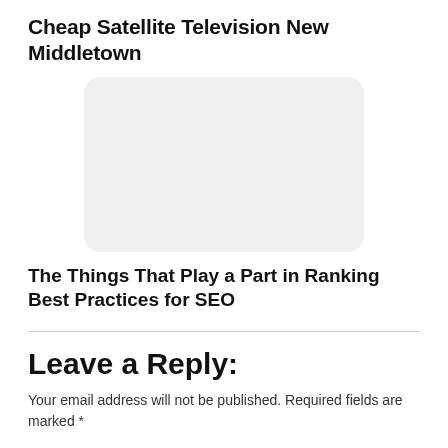Cheap Satellite Television New Middletown
[Figure (other): Gray rounded rectangle placeholder image]
The Things That Play a Part in Ranking Best Practices for SEO
Leave a Reply:
Your email address will not be published. Required fields are marked *